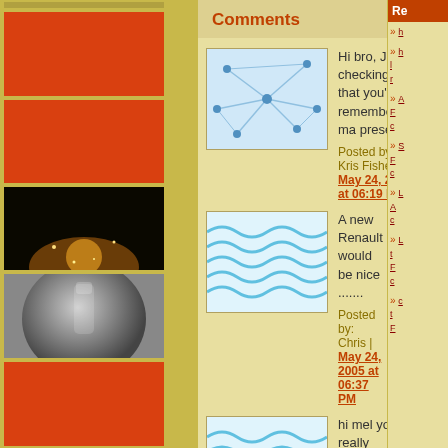[Figure (photo): Red rectangular thumbnail image at top left]
[Figure (photo): Solid red/orange rectangle thumbnail]
[Figure (photo): Solid red/orange rectangle thumbnail]
[Figure (photo): Night city lights photo thumbnail]
[Figure (photo): Globe/sphere foggy photo thumbnail]
[Figure (photo): Solid red/orange rectangle thumbnail]
Comments
[Figure (illustration): Network/neuron abstract blue illustration avatar]
Hi bro, Just checking that you've remembered ma present.
Posted by: Kris Fisher | May 24, 2005 at 06:19 PM
[Figure (illustration): Blue waves abstract avatar]
A new Renault would be nice .......
Posted by: Chris | May 24, 2005 at 06:37 PM
[Figure (illustration): Blue waves abstract avatar]
hi mel you really shouldn't have bought me that expensive aftershave i prefer perfume ha ha---------hope your having fun see you soon.
Posted by: GRANT FLEMING | May 24, 2005 at 07:20 PM
[Figure (illustration): Blue waves abstract avatar]
Hi kristi
not long to go now till i see you.i hope you are having fun in paris. ihope you